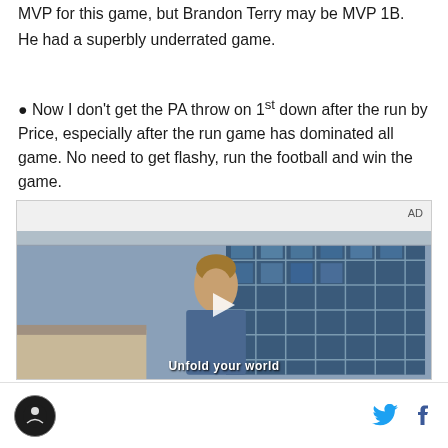MVP for this game, but Brandon Terry may be MVP 1B. He had a superbly underrated game.
Now I don't get the PA throw on 1st down after the run by Price, especially after the run game has dominated all game. No need to get flashy, run the football and win the game.
[Figure (other): Advertisement video player showing a young man in a denim jacket standing in front of a wall of blue-tinted glass windows in what appears to be a school hallway or cafeteria. Text overlay at bottom reads 'Unfold your world'. AD label in top right corner.]
Site logo icon | Twitter bird icon | Facebook f icon